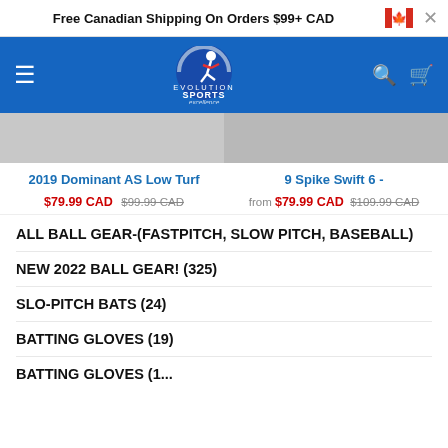Free Canadian Shipping On Orders $99+ CAD
[Figure (logo): Evolution Sports Excellence logo with runner icon on blue background]
2019 Dominant AS Low Turf
$79.99 CAD $99.99 CAD
9 Spike Swift 6 -
from $79.99 CAD $109.99 CAD
ALL BALL GEAR-(FASTPITCH, SLOW PITCH, BASEBALL)
NEW 2022 BALL GEAR! (325)
SLO-PITCH BATS (24)
BATTING GLOVES (19)
BATTING GLOVES (1...)